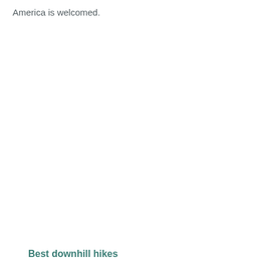America is welcomed.
Best downhill hikes